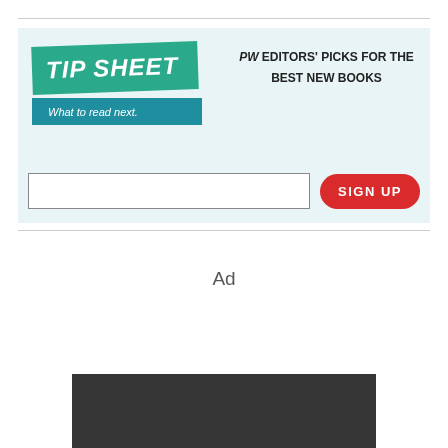[Figure (infographic): PW Tip Sheet newsletter signup banner with teal/green angled logo reading 'TIP SHEET What to read next.' and tagline 'PW EDITORS' PICKS FOR THE BEST NEW BOOKS', with an email input field and red SIGN UP button]
Ad
[Figure (other): Dark gray/black advertisement box at bottom of page]